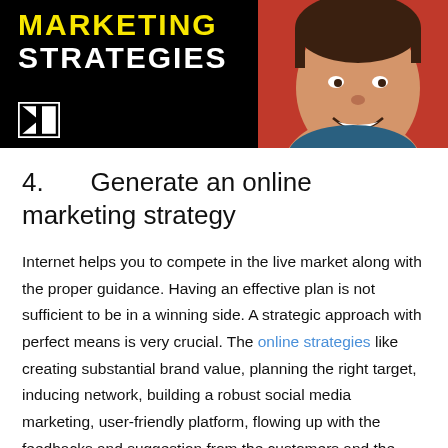[Figure (illustration): Banner image with black background showing text 'MARKETING STRATEGIES' in yellow and white bold letters, a logo icon on the lower left, and a smiling man's face on the right side against a red background.]
4.    Generate an online marketing strategy
Internet helps you to compete in the live market along with the proper guidance. Having an effective plan is not sufficient to be in a winning side. A strategic approach with perfect means is very crucial. The online strategies like creating substantial brand value, planning the right target, inducing network, building a robust social media marketing, user-friendly platform, flowing up with the feedbacks and suggestion from the customers and the network can help you sail faster.